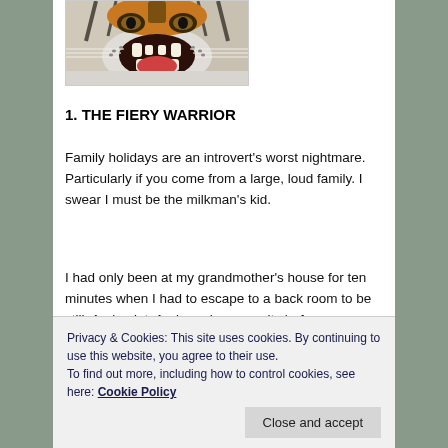[Figure (photo): Close-up photo of a tiger with mouth open showing teeth, snarling]
1. THE FIERY WARRIOR
Family holidays are an introvert's worst nightmare. Particularly if you come from a large, loud family. I swear I must be the milkman's kid.
I had only been at my grandmother's house for ten minutes when I had to escape to a back room to be still. And quiet. And regain my sanity before re-emerging into the chaos of simultaneous conversations at yelling
“Has anyone seen Kevin?”
Privacy & Cookies: This site uses cookies. By continuing to use this website, you agree to their use.
To find out more, including how to control cookies, see here: Cookie Policy